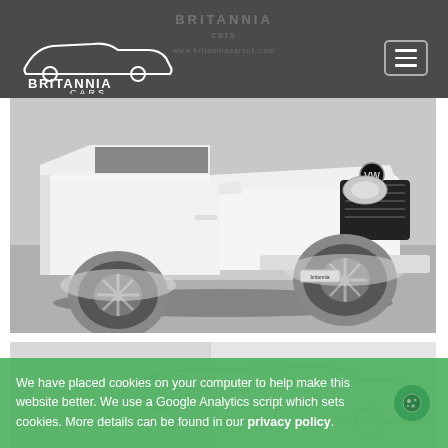[Figure (logo): Britannia Cars logo with car silhouette outline and text 'BRITANNIA CARS' in white on dark grey header background]
[Figure (photo): White Volkswagen Amarok pickup truck, front three-quarter view, photographed in a showroom with grey floor]
[Figure (photo): Partial view of a second car photograph, lighter vehicle in white showroom setting with Britannia Cars watermark]
We have placed cookies on your computer to help make this website better. We use a Google Analytics script which sets cookies. More details can be found in our privacy policy.